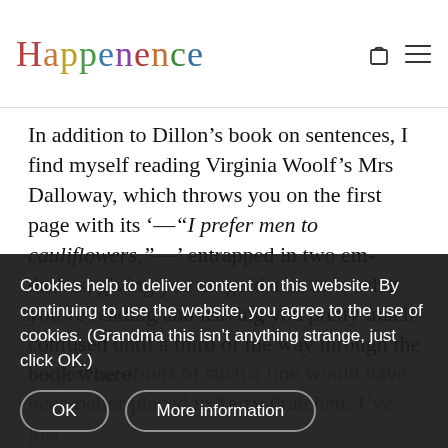Happenence
In addition to Dillon’s book on sentences, I find myself reading Virginia Woolf’s Mrs Dalloway, which throws you on the first page with its ‘—“I prefer men to cauliflowers,”—’ entrapped in two em-dashes, giving you no guidance as to what you’re reading and leaving you pretty much confused until a third of the way through the book where you settle down praying that dear Mrs Woolf will keep the surprising cauliflowers on the prose and instead give you something that resembles a story.
Cookies help to deliver content on this website. By continuing to use the website, you agree to the use of cookies. (Grandma this isn’t anything strange, just click OK.)
— past mentions of such a line would have been better placed in Terry Pratchett. I’ve just